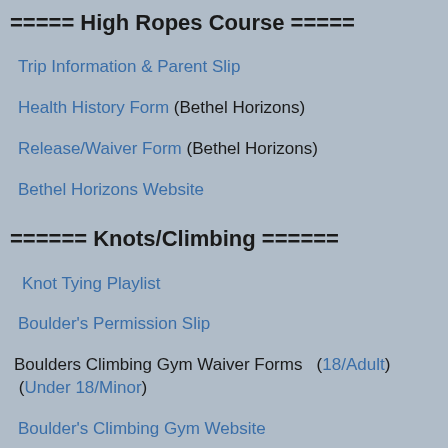===== High Ropes Course =====
Trip Information & Parent Slip
Health History Form (Bethel Horizons)
Release/Waiver Form (Bethel Horizons)
Bethel Horizons Website
====== Knots/Climbing ======
Knot Tying Playlist
Boulder's Permission Slip
Boulders Climbing Gym Waiver Forms  (18/Adult)  (Under 18/Minor)
Boulder's Climbing Gym Website